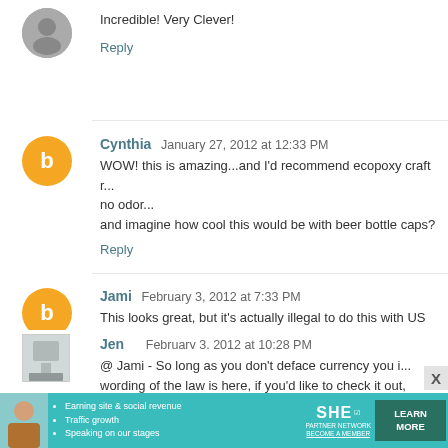Incredible! Very Clever!
Reply
Cynthia  January 27, 2012 at 12:33 PM
WOW! this is amazing...and I'd recommend ecopoxy craft resin it has no odor...
and imagine how cool this would be with beer bottle caps?
Reply
Jami  February 3, 2012 at 7:33 PM
This looks great, but it's actually illegal to do this with US cu... Technically even a smooshed coin or torn bill are suppose... that would give a similar effect like washers or copper plum...
Reply
Jen  February 3, 2012 at 10:28 PM
@ Jami - So long as you don't deface currency you i... wording of the law is here, if you'd like to check it out,
[Figure (infographic): SHE Partner Network advertisement banner with teal background, photo of woman, bullet points about earning site, traffic growth, speaking on stages, SHE logo, and Learn More button]